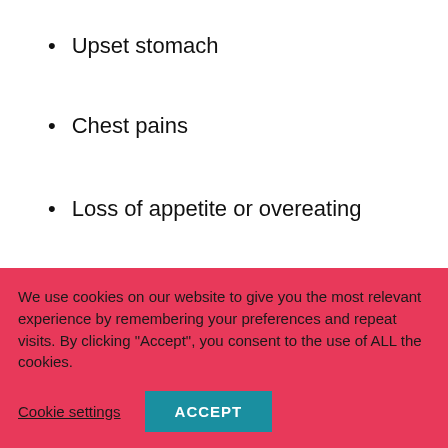Upset stomach
Chest pains
Loss of appetite or overeating
Depression
Parenting isn’t easy on day one and it doesn’t get easy as
We use cookies on our website to give you the most relevant experience by remembering your preferences and repeat visits. By clicking “Accept”, you consent to the use of ALL the cookies.
Cookie settings
ACCEPT